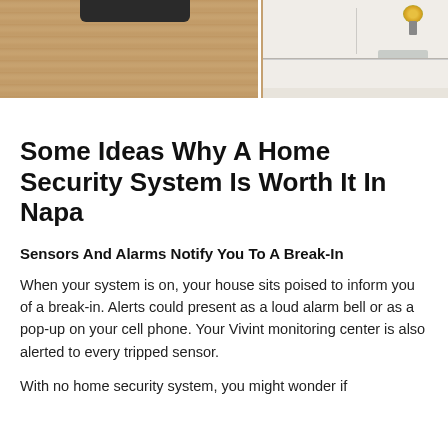[Figure (photo): Split photo showing two scenes: left side shows a wooden door or cabinet panel with a dark smart home panel/device mounted at top center; right side shows a modern white kitchen with counter, cabinets, sink area, and a floral arrangement.]
Some Ideas Why A Home Security System Is Worth It In Napa
Sensors And Alarms Notify You To A Break-In
When your system is on, your house sits poised to inform you of a break-in. Alerts could present as a loud alarm bell or as a pop-up on your cell phone. Your Vivint monitoring center is also alerted to every tripped sensor.
With no home security system, you might wonder if